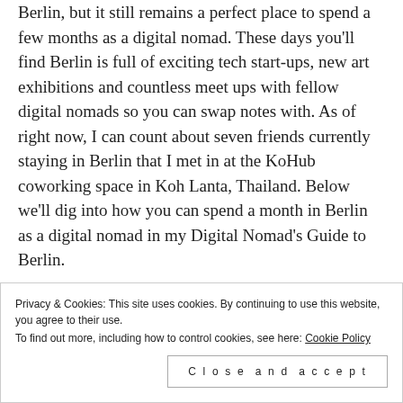Berlin, but it still remains a perfect place to spend a few months as a digital nomad. These days you'll find Berlin is full of exciting tech start-ups, new art exhibitions and countless meet ups with fellow digital nomads so you can swap notes with. As of right now, I can count about seven friends currently staying in Berlin that I met in at the KoHub coworking space in Koh Lanta, Thailand. Below we'll dig into how you can spend a month in Berlin as a digital nomad in my Digital Nomad's Guide to Berlin.
Privacy & Cookies: This site uses cookies. By continuing to use this website, you agree to their use. To find out more, including how to control cookies, see here: Cookie Policy
Close and accept